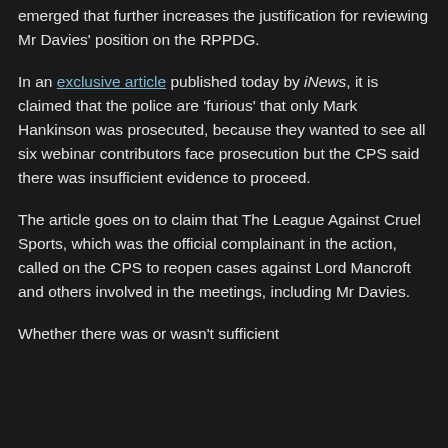emerged that further increases the justification for reviewing Mr Davies' position on the RPPDG.
In an exclusive article published today by iNews, it is claimed that the police are 'furious' that only Mark Hankinson was prosecuted, because they wanted to see all six webinar contributors face prosecution but the CPS said there was insufficient evidence to proceed.
The article goes on to claim that The League Against Cruel Sports, which was the official complainant in the action, called on the CPS to reopen cases against Lord Mancroft and others involved in the meetings, including Mr Davies.
Whether there was or wasn't sufficient